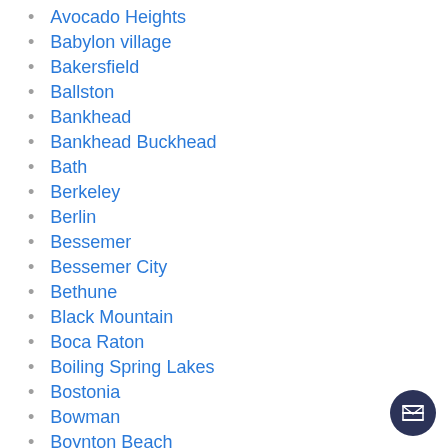Avocado Heights
Babylon village
Bakersfield
Ballston
Bankhead
Bankhead Buckhead
Bath
Berkeley
Berlin
Bessemer
Bessemer City
Bethune
Black Mountain
Boca Raton
Boiling Spring Lakes
Bostonia
Bowman
Boynton Beach
Brandon